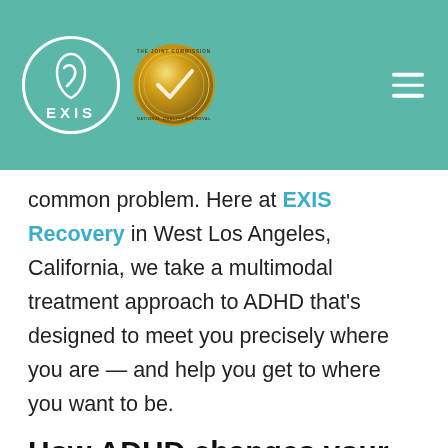EXIS Recovery — Navigation header with logo and Joint Commission seal
common problem. Here at EXIS Recovery in West Los Angeles, California, we take a multimodal treatment approach to ADHD that's designed to meet you precisely where you are — and help you get to where you want to be.
How ADHD changes your brain
Most mental health conditions involve some degree of disrupted brain activity, usually in the form of discordant, dysfunctional, or imbalanced